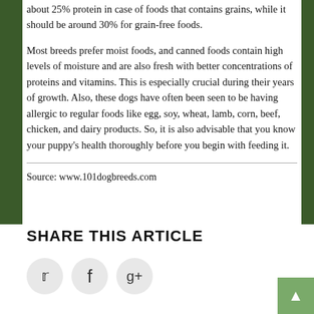about 25% protein in case of foods that contains grains, while it should be around 30% for grain-free foods.
Most breeds prefer moist foods, and canned foods contain high levels of moisture and are also fresh with better concentrations of proteins and vitamins. This is especially crucial during their years of growth. Also, these dogs have often been seen to be having allergic to regular foods like egg, soy, wheat, lamb, corn, beef, chicken, and dairy products. So, it is also advisable that you know your puppy's health thoroughly before you begin with feeding it.
Source: www.101dogbreeds.com
SHARE THIS ARTICLE